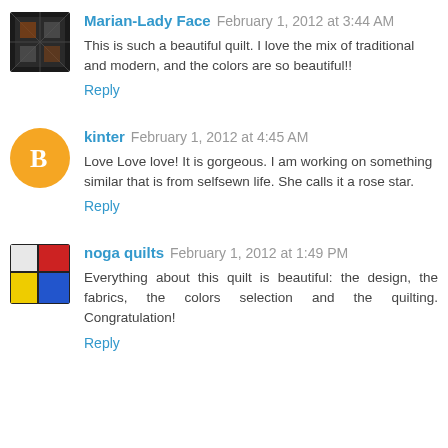Marian-Lady Face  February 1, 2012 at 3:44 AM
This is such a beautiful quilt. I love the mix of traditional and modern, and the colors are so beautiful!!
Reply
kinter  February 1, 2012 at 4:45 AM
Love Love love! It is gorgeous. I am working on something similar that is from selfsewn life. She calls it a rose star.
Reply
noga quilts  February 1, 2012 at 1:49 PM
Everything about this quilt is beautiful: the design, the fabrics, the colors selection and the quilting. Congratulation!
Reply